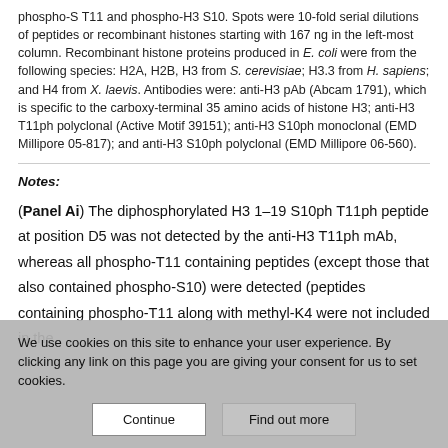phospho-S T11 and phospho-H3 S10. Spots were 10-fold serial dilutions of peptides or recombinant histones starting with 167 ng in the left-most column. Recombinant histone proteins produced in E. coli were from the following species: H2A, H2B, H3 from S. cerevisiae; H3.3 from H. sapiens; and H4 from X. laevis. Antibodies were: anti-H3 pAb (Abcam 1791), which is specific to the carboxy-terminal 35 amino acids of histone H3; anti-H3 T11ph polyclonal (Active Motif 39151); anti-H3 S10ph monoclonal (EMD Millipore 05-817); and anti-H3 S10ph polyclonal (EMD Millipore 06-560).
Notes:
(Panel Ai) The diphosphorylated H3 1–19 S10ph T11ph peptide at position D5 was not detected by the anti-H3 T11ph mAb, whereas all phospho-T11 containing peptides (except those that also contained phospho-S10) were detected (peptides containing phospho-T11 along with methyl-K4 were not included in the
We use cookies on this site to enhance your user experience. By clicking any link on this page you are giving your consent for us to set cookies.